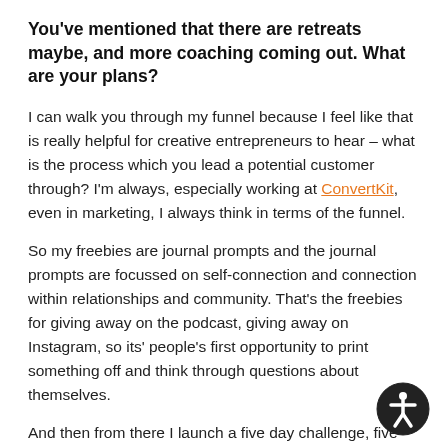You've mentioned that there are retreats maybe, and more coaching coming out. What are your plans?
I can walk you through my funnel because I feel like that is really helpful for creative entrepreneurs to hear – what is the process which you lead a potential customer through? I'm always, especially working at ConvertKit, even in marketing, I always think in terms of the funnel.
So my freebies are journal prompts and the journal prompts are focussed on self-connection and connection within relationships and community. That's the freebies for giving away on the podcast, giving away on Instagram, so its' people's first opportunity to print something off and think through questions about themselves.
And then from there I launch a five day challenge, five day self-connection challenge. It's a paid challenge